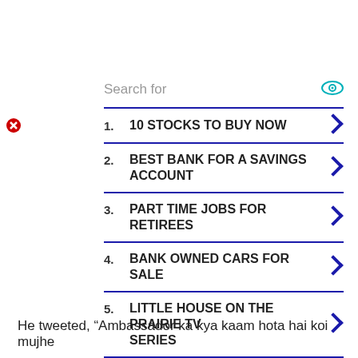[Figure (screenshot): Red X close button icon in top-left corner of ad]
Search for
1. 10 STOCKS TO BUY NOW
2. BEST BANK FOR A SAVINGS ACCOUNT
3. PART TIME JOBS FOR RETIREES
4. BANK OWNED CARS FOR SALE
5. LITTLE HOUSE ON THE PRAIRIE TV SERIES
Yahoo! Search | Sponsored
He tweeted, “Ambassador ka kya kaam hota hai koi mujhe